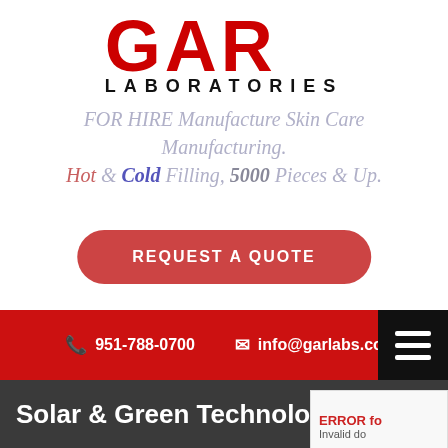GAR LABORATORIES
FOR HIRE Manufacture Skin Care Manufacturing. Hot & Cold Filling, 5000 Pieces & Up.
REQUEST A QUOTE
951-788-0700   info@garlabs.com
Solar & Green Technology
ERROR for Invalid do